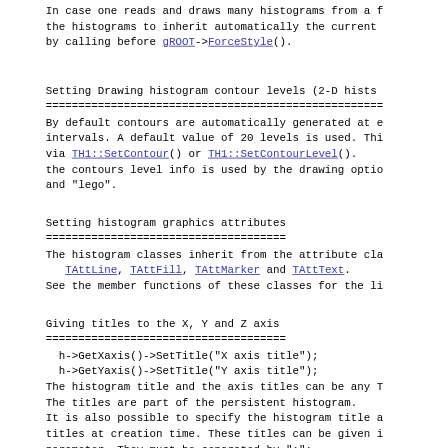In case one reads and draws many histograms from a file, the histograms to inherit automatically the current by calling before gROOT->ForceStyle().
Setting Drawing histogram contour levels (2-D hists
By default contours are automatically generated at e intervals. A default value of 20 levels is used. Thi via TH1::SetContour() or TH1::SetContourLevel(). the contours level info is used by the drawing optio and "lego".
Setting histogram graphics attributes
The histogram classes inherit from the attribute cla   TAttLine, TAttFill, TAttMarker and TAttText. See the member functions of these classes for the li
Giving titles to the X, Y and Z axis
h->GetXaxis()->SetTitle("X axis title");
  h->GetYaxis()->SetTitle("Y axis title");
The histogram title and the axis titles can be any T The titles are part of the persistent histogram. It is also possible to specify the histogram title a titles at creation time. These titles can be given i parameter. They must be separated by ";":
TH1F* h=new TH1F("h","Histogram title;X Axis;Y Ax Any title can be omitted: